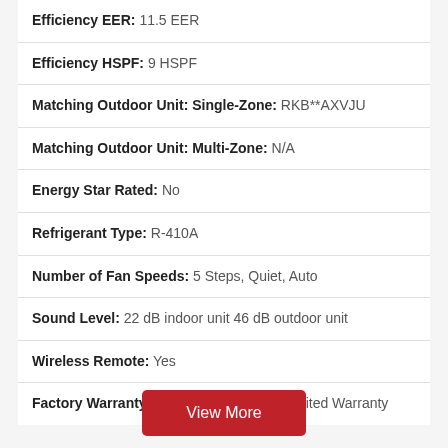Efficiency EER: 11.5 EER
Efficiency HSPF: 9 HSPF
Matching Outdoor Unit: Single-Zone: RKB**AXVJU
Matching Outdoor Unit: Multi-Zone: N/A
Energy Star Rated: No
Refrigerant Type: R-410A
Number of Fan Speeds: 5 Steps, Quiet, Auto
Sound Level: 22 dB indoor unit 46 dB outdoor unit
Wireless Remote: Yes
Factory Warranty Parts: 10-Year Parts Limited Warranty